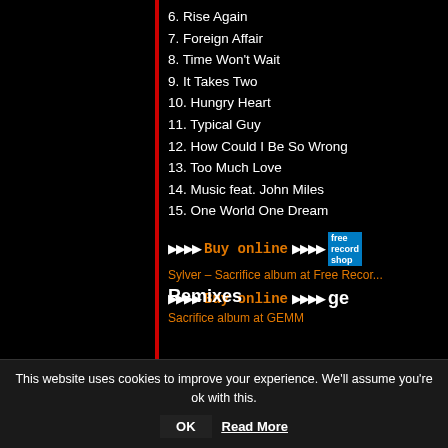6. Rise Again
7. Foreign Affair
8. Time Won't Wait
9. It Takes Two
10. Hungry Heart
11. Typical Guy
12. How Could I Be So Wrong
13. Too Much Love
14. Music feat. John Miles
15. One World One Dream
[Figure (other): Buy online button with play arrows for Sylver – Sacrifice album at Free Record Shop]
Sylver – Sacrifice album at Free Record Shop
[Figure (other): Buy online button with play arrows for Sacrifice album at GEMM]
Sacrifice album at GEMM
Remixes
This website uses cookies to improve your experience. We'll assume you're ok with this.
OK
Read More